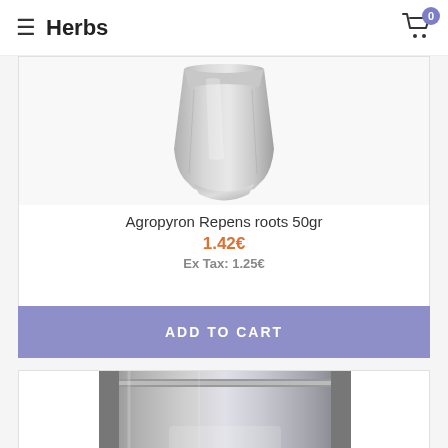≡ Herbs  🛒 0
[Figure (photo): Silver/white foil stand-up pouch product bag for Agropyron Repens roots 50gr]
Agropyron Repens roots 50gr
1.42€
Ex Tax: 1.25€
ADD TO CART
[Figure (photo): Silver metallic stand-up pouch product bag with resealable zipper, partially obscured by heart and shuffle icon overlay buttons]